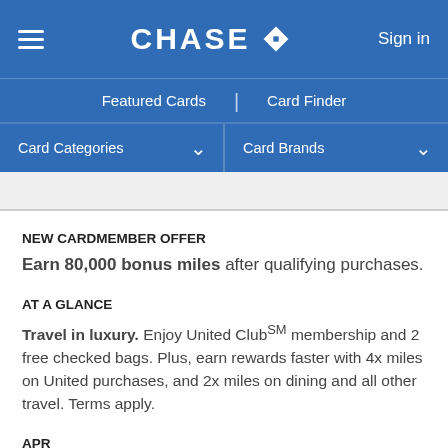CHASE — Sign in
Featured Cards | Card Finder
Card Categories  ▾   Card Brands  ▾
NEW CARDMEMBER OFFER
Earn 80,000 bonus miles after qualifying purchases.
AT A GLANCE
Travel in luxury. Enjoy United Club℠ membership and 2 free checked bags. Plus, earn rewards faster with 4x miles on United purchases, and 2x miles on dining and all other travel. Terms apply.
APR
18.74%–25.74% variable APR.¹